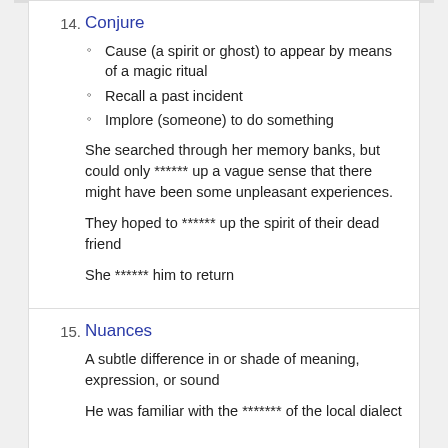14. Conjure
Cause (a spirit or ghost) to appear by means of a magic ritual
Recall a past incident
Implore (someone) to do something
She searched through her memory banks, but could only ****** up a vague sense that there might have been some unpleasant experiences.
They hoped to ****** up the spirit of their dead friend
She ****** him to return
15. Nuances
A subtle difference in or shade of meaning, expression, or sound
He was familiar with the ******* of the local dialect